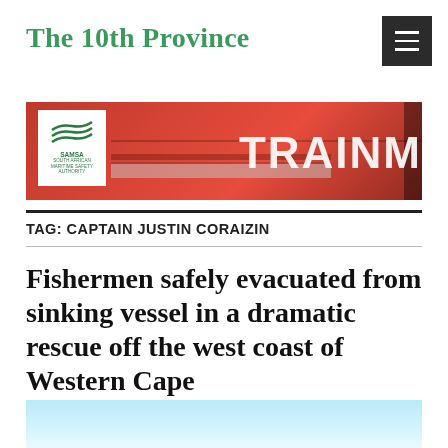The 10th Province
[Figure (photo): A red ship hull with SAMSA (South African Maritime Safety Authority) logo on a white background in the lower left, and large white text 'TRAINM' partially visible on the right side of the hull.]
TAG: CAPTAIN JUSTIN CORAIZIN
Fishermen safely evacuated from sinking vessel in a dramatic rescue off the west coast of Western Cape
[Figure (photo): A light blue water/sky scene — bottom portion of an image cut off at the page edge.]